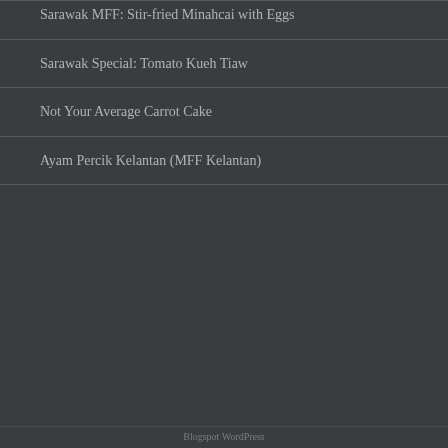Sarawak MFF: Stir-fried Minahcai with Eggs
Sarawak Special: Tomato Kueh Tiaw
Not Your Average Carrot Cake
Ayam Percik Kelantan (MFF Kelantan)
Blogspot WordPress